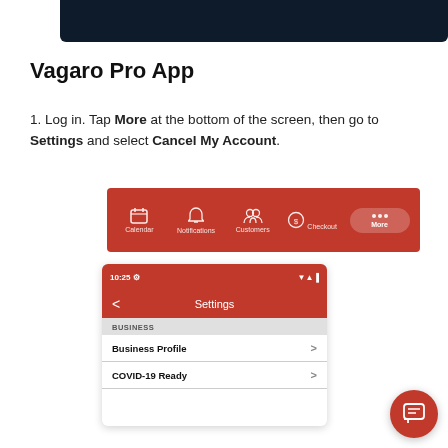[Figure (screenshot): Dark navy top bar decorative element]
Vagaro Pro App
Log in. Tap More at the bottom of the screen, then go to Settings and select Cancel My Account.
[Figure (screenshot): App navigation bar with Calendar, Notifications, Customers, Checkout, and More (active/highlighted) tabs on red background]
[Figure (screenshot): Phone screen showing Settings page with status bar at 10:25, back arrow, Settings header in red, BUSINESS section with Business Profile and COVID-19 Ready menu items]